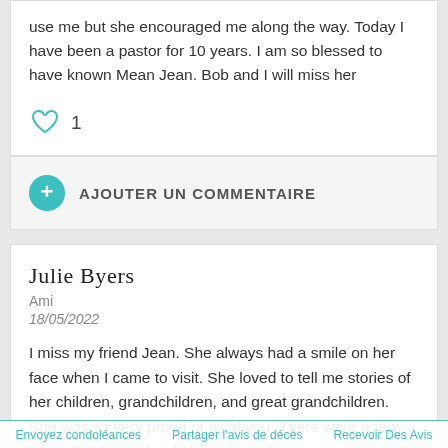use me but she encouraged me along the way. Today I have been a pastor for 10 years. I am so blessed to have known Mean Jean. Bob and I will miss her
1
AJOUTER UN COMMENTAIRE
Julie Byers
Ami
18/05/2022
I miss my friend Jean. She always had a smile on her face when I came to visit. She loved to tell me stories of her children, grandchildren, and great grandchildren. She was so very proud of all of you. There were a few times that I would pick Jean up and
Envoyez condoléances    Partager l'avis de décès    Recevoir Des Avis